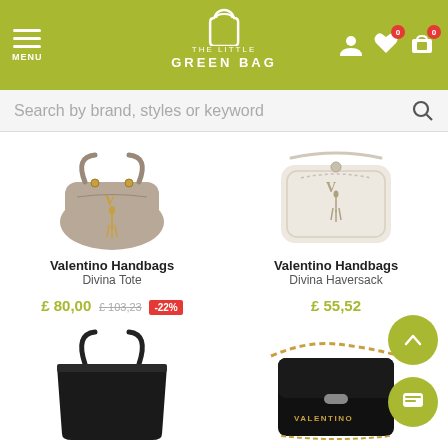THE LITTLE GREEN BAG — Menu | Search bar
[Figure (photo): Valentino Handbags Divina Tote — taupe/grey leather tote bag with gold V logo and tassel]
Valentino Handbags
Divina Tote
£ 80,00  £ 103,23  -22%
[Figure (photo): Valentino Handbags Divina Haversack — white/cream small crossbody bag with V logo and tassel]
Valentino Handbags
Divina Haversack
£ 55,52
[Figure (photo): Black large tote bag with long handles]
[Figure (photo): Black Valentino chain-strap crossbody bag with gold VALENTINO lettering]